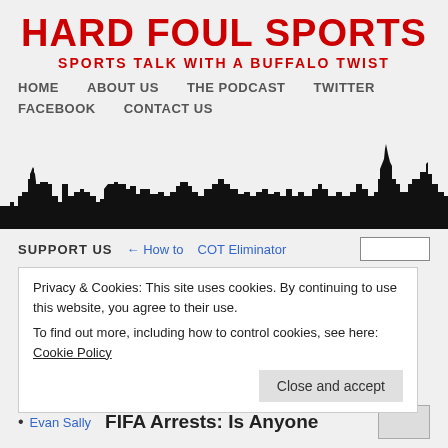HARD FOUL SPORTS
SPORTS TALK WITH A BUFFALO TWIST
HOME   ABOUT US   THE PODCAST   TWITTER   FACEBOOK   CONTACT US
[Figure (illustration): Black silhouette of Buffalo city skyline against white/light background]
SUPPORT US
← How to
COT Eliminator
Privacy & Cookies: This site uses cookies. By continuing to use this website, you agree to their use.
To find out more, including how to control cookies, see here: Cookie Policy
Close and accept
Evan Sally
FIFA Arrests: Is Anyone